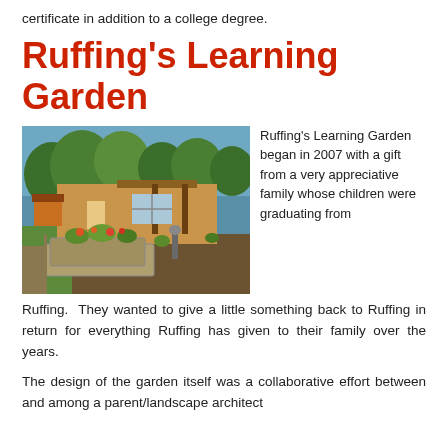certificate in addition to a college degree.
Ruffing's Learning Garden
[Figure (photo): Outdoor photo of Ruffing's Learning Garden showing raised stone garden beds with flowers and plants, a building with a pergola in the background, surrounded by trees and green lawn.]
Ruffing's Learning Garden began in 2007 with a gift from a very appreciative family whose children were graduating from Ruffing.  They wanted to give a little something back to Ruffing in return for everything Ruffing has given to their family over the years.
The design of the garden itself was a collaborative effort between and among a parent/landscape architect